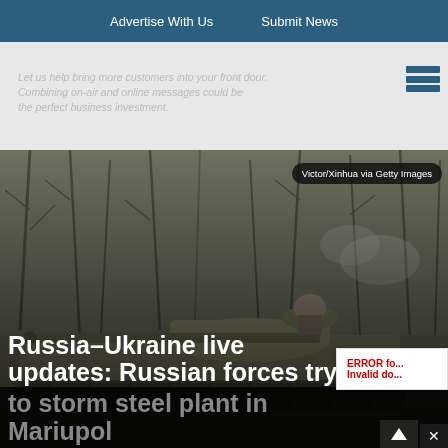Advertise With Us   Submit News
[Figure (screenshot): Advertisement banner with greyed-out text: Let us help bring more customers into your front door. Combining on-air and online messages could be the perfect business investment.]
[Figure (photo): Military tank in a wooded area with a soldier visible, photo credit: Victor/Xinhua via Getty Images]
Russia–Ukraine live updates: Russian forces try to storm steel plant in Mariupol